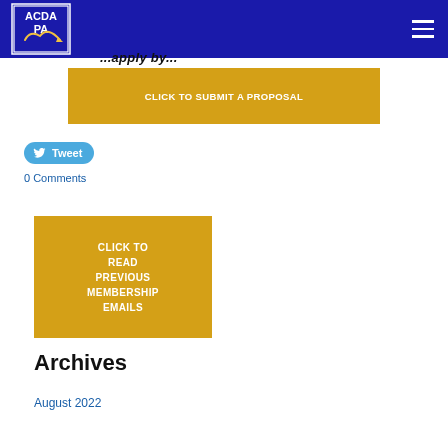ACDA PA
...apply by...
CLICK TO SUBMIT A PROPOSAL
Tweet
0 Comments
CLICK TO READ PREVIOUS MEMBERSHIP EMAILS
Archives
August 2022